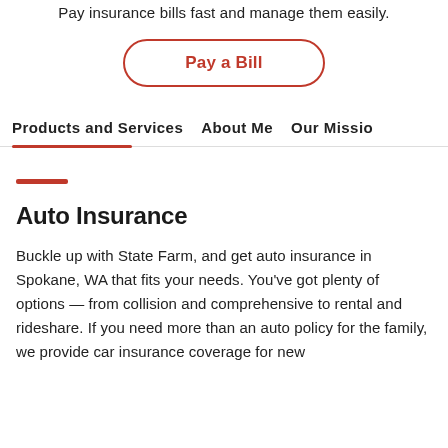Pay insurance bills fast and manage them easily.
Pay a Bill
Products and Services   About Me   Our Missio
Auto Insurance
Buckle up with State Farm, and get auto insurance in Spokane, WA that fits your needs. You've got plenty of options — from collision and comprehensive to rental and rideshare. If you need more than an auto policy for the family, we provide car insurance coverage for new